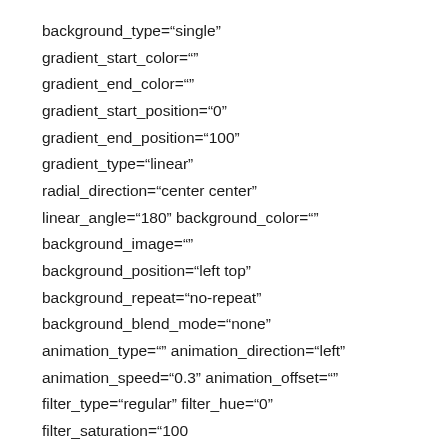background_type="single" gradient_start_color="" gradient_end_color="" gradient_start_position="0" gradient_end_position="100" gradient_type="linear" radial_direction="center center" linear_angle="180" background_color="" background_image="" background_position="left top" background_repeat="no-repeat" background_blend_mode="none" animation_type="" animation_direction="left" animation_speed="0.3" animation_offset="" filter_type="regular" filter_hue="0" filter_saturation="100